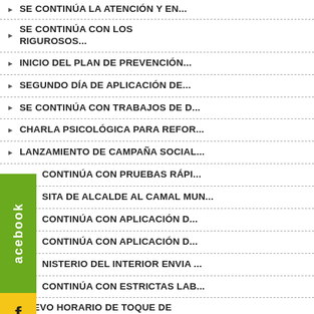SE CONTINÚA LA ATENCIÓN Y EN...
SE CONTINÚA CON LOS RIGUROSOS...
INICIO DEL PLAN DE PREVENCIÓN...
SEGUNDO DÍA DE APLICACIÓN DE...
SE CONTINÚA CON TRABAJOS DE D...
CHARLA PSICOLÓGICA PARA REFOR...
LANZAMIENTO DE CAMPAÑA SOCIAL...
CONTINÚA CON PRUEBAS RÁPI...
SITA DE ALCALDE AL CAMAL MUN...
CONTINÚA CON APLICACIÓN D...
CONTINÚA CON APLICACIÓN D...
NISTERIO DEL INTERIOR ENVIA ...
CONTINÚA CON ESTRICTAS LAB...
NUEVO HORARIO DE TOQUE DE QUED...
MAS COMERCIANTES EN LA ESPERAN...